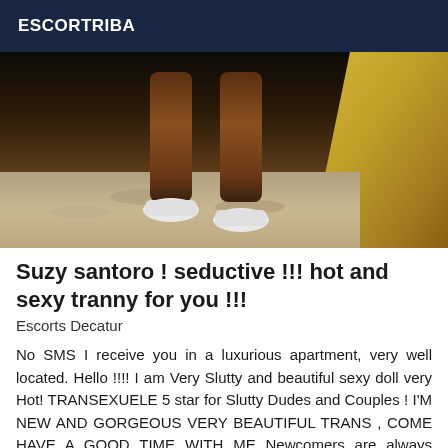ESCORTRIBA
[Figure (photo): Photo of legs and feet wearing white sneakers standing on sandy ground near a rock]
Suzy santoro ! seductive !!! hot and sexy tranny for you !!!
Escorts Decatur
No SMS I receive you in a luxurious apartment, very well located. Hello !!!! I am Very Slutty and beautiful sexy doll very Hot! TRANSEXUELE 5 star for Slutty Dudes and Couples ! I'M NEW AND GORGEOUS VERY BEAUTIFUL TRANS , COME HAVE A GOOD TIME WITH ME Newcomers are always welcome! My photos are 100% authentic, actual and real photos! not